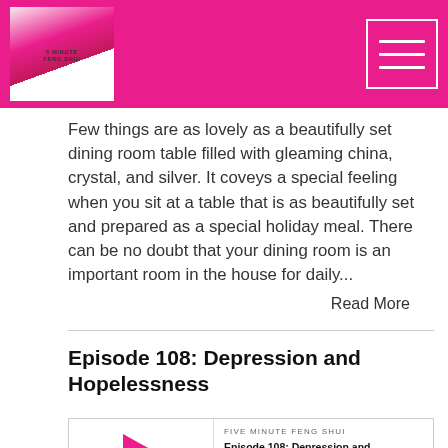Five Minute Feng Shui — header with logo and menu button
Few things are as lovely as a beautifully set dining room table filled with gleaming china, crystal, and silver. It coveys a special feeling when you sit at a table that is as beautifully set and prepared as a special holiday meal. There can be no doubt that your dining room is an important room in the house for daily...
Read More
Episode 108: Depression and Hopelessness
[Figure (other): Podcast player widget showing Five Minute Feng Shui, Episode 108: Depression and Hopelessness, with play button, progress bar, time 00:00:00, and media control icons]
Nov 11, 2020